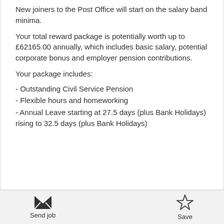New joiners to the Post Office will start on the salary band minima.
Your total reward package is potentially worth up to £62165.00 annually, which includes basic salary, potential corporate bonus and employer pension contributions.
Your package includes:
- Outstanding Civil Service Pension
- Flexible hours and homeworking
- Annual Leave starting at 27.5 days (plus Bank Holidays) rising to 32.5 days (plus Bank Holidays)
Send job | Save